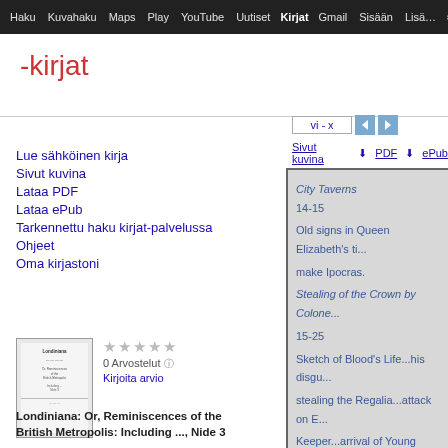Haku Kuvahaku Maps Play YouTube Uutiset Kirjat Gmail Sisään Lisä… ⚙
-kirjat
Lue sähköinen kirja
Sivut kuvina
Lataa PDF
Lataa ePub
Tarkennettu haku kirjat-palvelussa
Ohjeet
Oma kirjastoni
[Figure (screenshot): Book thumbnail showing title page of Londiniana]
★★★★★ 0 Arvostelut Kirjoita arvio
Londiniana: Or, Reminiscences of the British Metropolis: Including ..., Nide 3
vi - x
Sivut kuvina PDF ePub
[Figure (screenshot): Book page preview showing table of contents entries: City Taverns 14-15, Old signs in Queen Elizabeth's ti... make Ipocras., Stealing of the Crown by Colone... 15-25, Sketch of Blood's Life...his disgu... stealing the Regalia...attack on E... Keeper...arrival of Young Edwar... seizure of the Ruffians... Blood's]